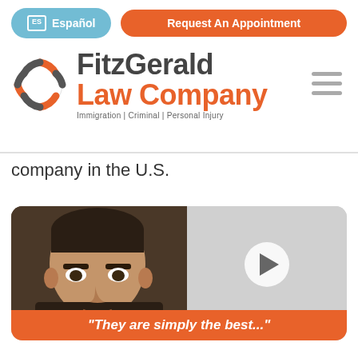[Figure (screenshot): Navigation bar with Español button (blue rounded) and Request An Appointment button (orange rounded)]
[Figure (logo): FitzGerald Law Company logo with circular orange/grey icon and text. Subtitle: Immigration | Criminal | Personal Injury]
company in the U.S.
[Figure (photo): Video thumbnail showing a man's face on the left half and a play button on the right half, with orange caption bar reading: "They are simply the best..."]